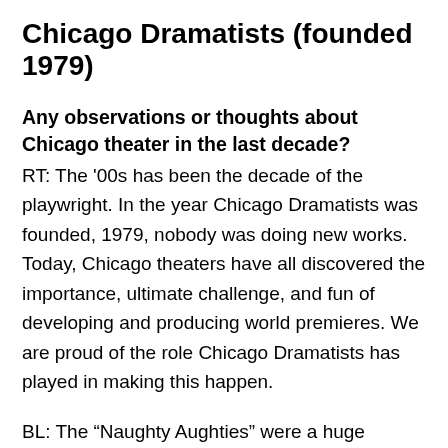Chicago Dramatists (founded 1979)
Any observations or thoughts about Chicago theater in the last decade?
RT: The ‘00s has been the decade of the playwright. In the year Chicago Dramatists was founded, 1979, nobody was doing new works. Today, Chicago theaters have all discovered the importance, ultimate challenge, and fun of developing and producing world premieres. We are proud of the role Chicago Dramatists has played in making this happen.
BL: The “Naughty Aughties” were a huge growth spurt for the Chicago Theater Scene. I